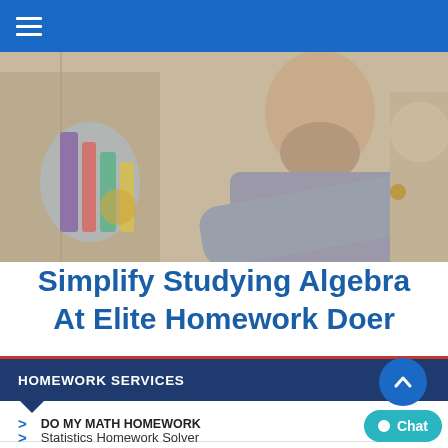≡ (navigation menu)
[Figure (photo): Person studying/working at a desk with colorful items in the background, blurred background, man with beard leaning forward]
Simplify Studying Algebra At Elite Homework Doer
HOMEWORK SERVICES
DO MY MATH HOMEWORK
Statistics Homework Solver